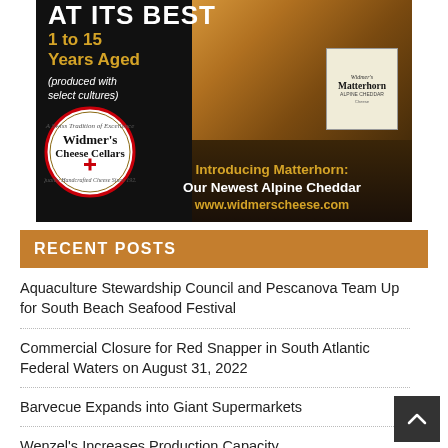[Figure (photo): Widmer's Cheese Cellars advertisement for Matterhorn Alpine Cheddar. Dark background with aged cheddar cheese block image. Text reads 'AT ITS BEST 1 to 15 Years Aged (produced with select cultures)'. Widmer's Cheese Cellars circular logo. Bottom text: 'Introducing Matterhorn: Our Newest Alpine Cheddar www.widmerscheese.com']
RECENT POSTS
Aquaculture Stewardship Council and Pescanova Team Up for South Beach Seafood Festival
Commercial Closure for Red Snapper in South Atlantic Federal Waters on August 31, 2022
Barvecue Expands into Giant Supermarkets
Wenzel's Increases Production Capacity